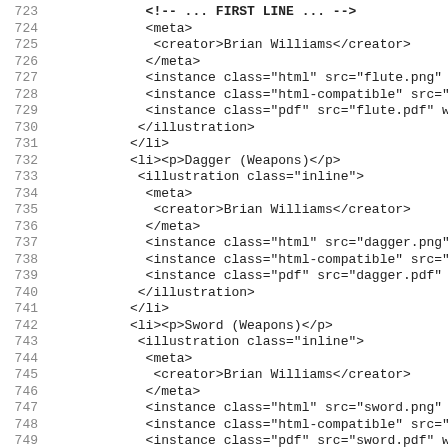Code listing lines 723-755 showing XML markup for illustration elements including flute, dagger, sword, and meals items with meta and instance tags.